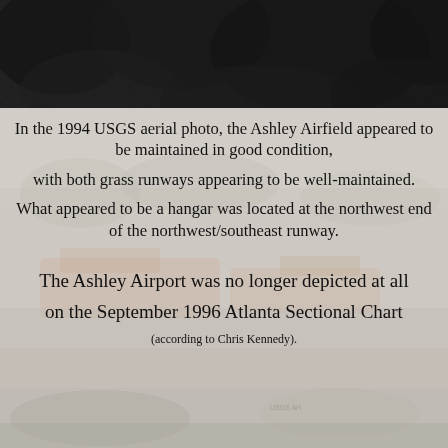[Figure (photo): Dark aerial photo at top of page, showing dark tree canopy or landscape from above (1994 USGS aerial)]
In the 1994 USGS aerial photo, the Ashley Airfield appeared to be maintained in good condition,
with both grass runways appearing to be well-maintained.
What appeared to be a hangar was located at the northwest end of the northwest/southeast runway.
The Ashley Airport was no longer depicted at all
on the September 1996 Atlanta Sectional Chart (according to Chris Kennedy).
[Figure (photo): Faded aerial/ground photo of airfield site visible in background behind text, showing equipment or debris]